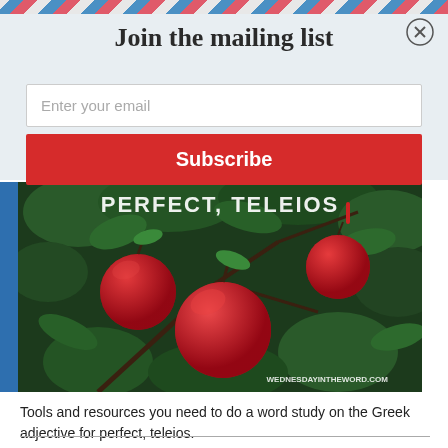Join the mailing list
Enter your email
Subscribe
[Figure (photo): Red apples on a tree branch with green leaves. Text overlay reads 'PERFECT, teleios' and watermark 'WEDNESDAYINTHEWORD.COM']
Tools and resources you need to do a word study on the Greek adjective for perfect, teleios.